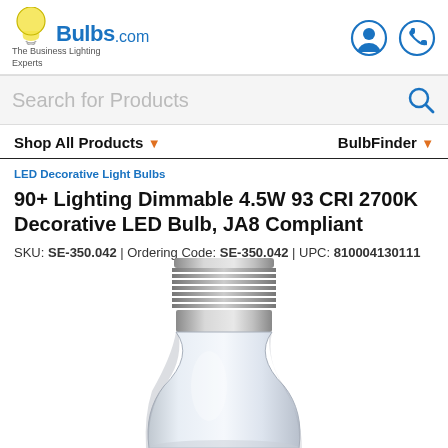[Figure (logo): Bulbs.com logo with tagline 'The Business Lighting Experts' and two circular icons (user, phone) on the right]
Search for Products
Shop All Products ▼         BulbFinder ▼
LED Decorative Light Bulbs
90+ Lighting Dimmable 4.5W 93 CRI 2700K Decorative LED Bulb, JA8 Compliant
SKU: SE-350.042 | Ordering Code: SE-350.042  | UPC: 810004130111
[Figure (photo): Photograph of a clear decorative LED candelabra bulb with E26 medium base, bottom portion visible]